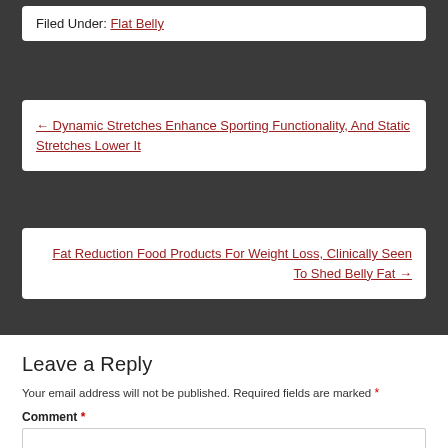Filed Under: Flat Belly
← Dynamic Stretches Enhance Sporting Functionality, And Static Stretches Lower It
Fat Reduction Food Products For Weight Loss, Clinically Seen To Shed Belly Fat →
Leave a Reply
Your email address will not be published. Required fields are marked *
Comment *